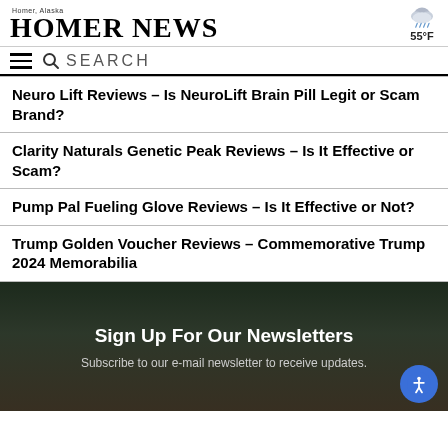Homer News — Homer, Alaska — 55°F
Neuro Lift Reviews – Is NeuroLift Brain Pill Legit or Scam Brand?
Clarity Naturals Genetic Peak Reviews – Is It Effective or Scam?
Pump Pal Fueling Glove Reviews – Is It Effective or Not?
Trump Golden Voucher Reviews – Commemorative Trump 2024 Memorabilia
Sign Up For Our Newsletters
Subscribe to our e-mail newsletter to receive updates.